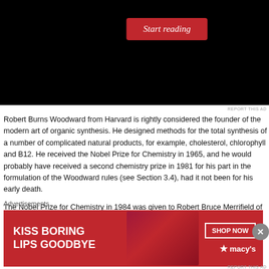[Figure (screenshot): Black advertisement box with 'Start reading' red button]
Robert Burns Woodward from Harvard is rightly considered the founder of the modern art of organic synthesis. He designed methods for the total synthesis of a number of complicated natural products, for example, cholesterol, chlorophyll and B12. He received the Nobel Prize for Chemistry in 1965, and he would probably have received a second chemistry prize in 1981 for his part in the formulation of the Woodward rules (see Section 3.4), had it not been for his early death.
The Nobel Prize for Chemistry in 1984 was given to Robert Bruce Merrifield of Rockefeller University "for his development of methodology for chemical synthesis on a solid matrix". Specifically, the synthesis of large peptides and small proteins.
3.9 Chemistry of Natural Product
The synthesis of complex organic molecules must be based on detailed knowledge of their structure. Early work on plant pigments was carried out by Richard Willstätter,
[Figure (screenshot): Advertisement banner: KISS BORING LIPS GOODBYE with SHOP NOW and macy's logo]